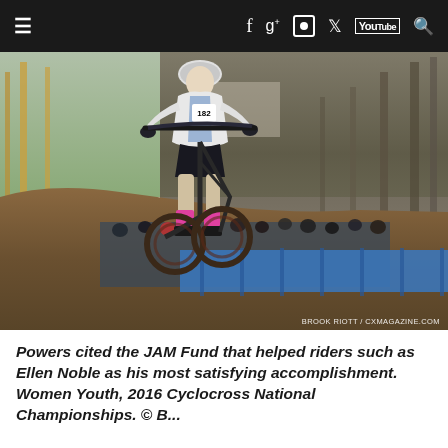≡  f  g+  ◎  𝕏  You  🔍
[Figure (photo): Female cyclocross racer descending a steep muddy hill on a bicycle, wearing white kit with number, pink socks, spectators and blue tarp barrier in background, trees visible. Credit: BROOK RIOTT / CXMAGAZINE.COM]
Powers cited the JAM Fund that helped riders such as Ellen Noble as his most satisfying accomplishment. Women Youth, 2016 Cyclocross National Championships. © B...